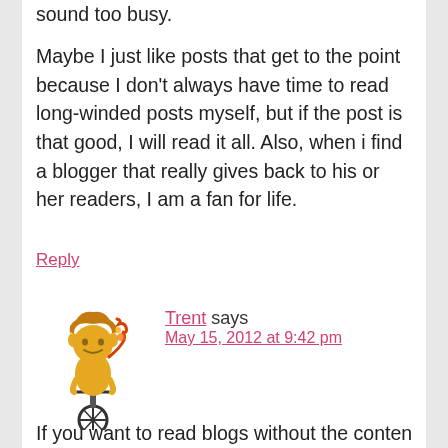sound too busy.
Maybe I just like posts that get to the point because I don't always have time to read long-winded posts myself, but if the post is that good, I will read it all. Also, when i find a blogger that really gives back to his or her readers, I am a fan for life.
Reply
Trent says
May 15, 2012 at 9:42 pm
[Figure (illustration): Avatar illustration of a cartoon lion/character riding a unicycle, yellow and brown tones]
If you want to read blogs without the content of